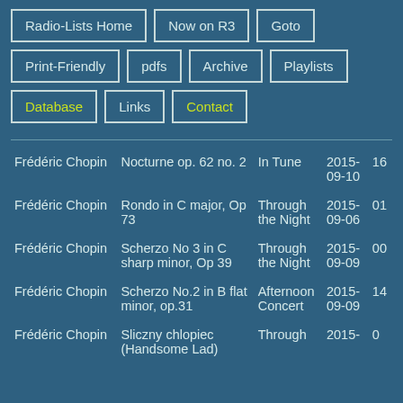Radio-Lists Home
Now on R3
Goto
Print-Friendly
pdfs
Archive
Playlists
Database
Links
Contact
| Composer | Work | Show | Date |  |
| --- | --- | --- | --- | --- |
| Frédéric Chopin | Nocturne op. 62 no. 2 | In Tune | 2015-09-10 | 16 |
| Frédéric Chopin | Rondo in C major, Op 73 | Through the Night | 2015-09-06 | 01 |
| Frédéric Chopin | Scherzo No 3 in C sharp minor, Op 39 | Through the Night | 2015-09-09 | 00 |
| Frédéric Chopin | Scherzo No.2 in B flat minor, op.31 | Afternoon Concert | 2015-09-09 | 14 |
| Frédéric Chopin | Sliczny chlopiec (Handsome Lad) | Through | 2015- | 0 |